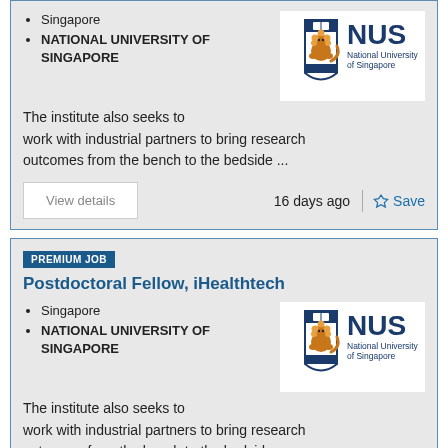Singapore
NATIONAL UNIVERSITY OF SINGAPORE
[Figure (logo): NUS National University of Singapore logo]
The institute also seeks to work with industrial partners to bring research outcomes from the bench to the bedside ...
View details
16 days ago
Save
PREMIUM JOB
Postdoctoral Fellow, iHealthtech
Singapore
NATIONAL UNIVERSITY OF SINGAPORE
[Figure (logo): NUS National University of Singapore logo]
The institute also seeks to work with industrial partners to bring research outcomes from the bench to the bedside ...